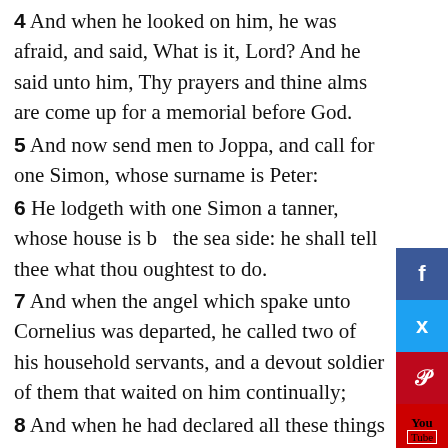4 And when he looked on him, he was afraid, and said, What is it, Lord? And he said unto him, Thy prayers and thine alms are come up for a memorial before God.
5 And now send men to Joppa, and call for one Simon, whose surname is Peter:
6 He lodgeth with one Simon a tanner, whose house is by the sea side: he shall tell thee what thou oughtest to do.
7 And when the angel which spake unto Cornelius was departed, he called two of his household servants, and a devout soldier of them that waited on him continually;
8 And when he had declared all these things unto them, he sent them to Joppa.
9 On the morrow, as they went on their journey, and drew nigh unto the city, Peter went up upon the housetop to pray about the sixth hour:
10 And he became very hungry, and would have eaten: but while they made ready, he fell into a trance,